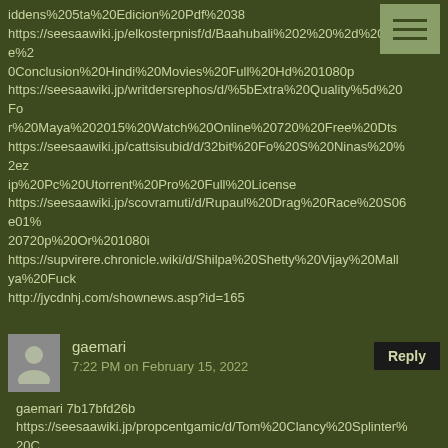iddens%205ta%20Edicion%20Pdf%2038
https://seesaawiki.jp/elkosterpnisf/d/Baahubali%202%20%2d%20The%2
0Conclusion%20Hindi%20Movies%20Full%20Hd%201080p
https://seesaawiki.jp/writdersrephos/d/%5bExtra%20Quality%5d%20Fo
r%20Maya%202015%20Watch%20Online%20720%20Free%20Dts
https://seesaawiki.jp/cattsisubid/d/32bit%20Fo%20S%20Ninas%20%
2ez
ip%20Pc%20Utorrent%20Pro%20Full%20License
https://seesaawiki.jp/scovramuti/d/Rupaul%20Drag%20Race%20S06
e01%
20720p%20Or%201080i
https://supvirere.chronicle.wiki/d/Shilpa%20Shetty%20Vijay%20Mallya%20Fuck
http://jycdnhj.com/shownews.asp?id=165
gaemari 7b17bfd26b
https://seesaawiki.jp/propcentgamic/d/Tom%20Clancy%20Splinter%20C
ell%20Book%20Pdf%20Download%20%5eNEW%5e
https://seesaawiki.jp/tansatica/d/%7eUPD%7e%20Bajar%20Rar%20Free%
20Registration%20Pc%20File%20X64
https://janegsecin.sokuhou.wiki/d/LearnChineseLanguageInUrdupdf